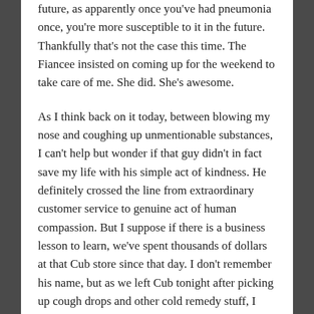future, as apparently once you've had pneumonia once, you're more susceptible to it in the future. Thankfully that's not the case this time. The Fiancee insisted on coming up for the weekend to take care of me. She did. She's awesome.
As I think back on it today, between blowing my nose and coughing up unmentionable substances, I can't help but wonder if that guy didn't in fact save my life with his simple act of kindness. He definitely crossed the line from extraordinary customer service to genuine act of human compassion. But I suppose if there is a business lesson to learn, we've spent thousands of dollars at that Cub store since that day. I don't remember his name, but as we left Cub tonight after picking up cough drops and other cold remedy stuff, I couldn't help thinking of him.
[Figure (logo): Small red square logo with white letters NS]